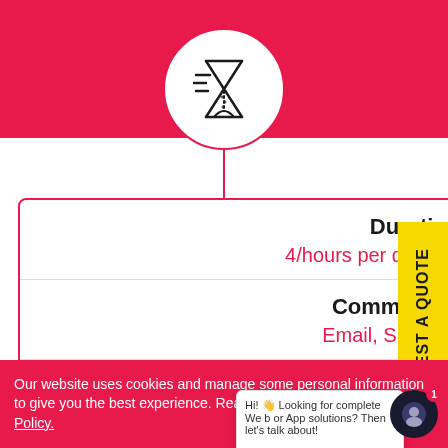[Figure (illustration): Hourglass/time icon inside a white circle with pink border, on pink background]
Duration
4/hours per day, 5 days/week
Communication
Email, Skype, Phone
Billing
Monthly
REQUEST A QUOTE
Hi! 👋 Looking for complete We b or App solutions? Then let's talk about!

If we don't reply within a minute.
Our website uses cookies and manage some personal information to give you the best experience. Read more about our Privacy Policy.